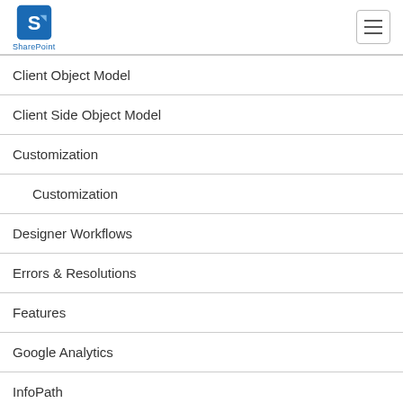SharePoint
Client Object Model
Client Side Object Model
Customization
Customization
Designer Workflows
Errors & Resolutions
Features
Google Analytics
InfoPath
Item Scheduling